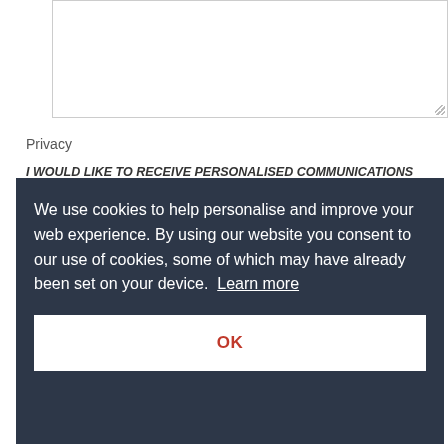[Figure (screenshot): A textarea input box with resize handle at bottom right]
Privacy
I WOULD LIKE TO RECEIVE PERSONALISED COMMUNICATIONS … O
We use cookies to help personalise and improve your web experience. By using our website you consent to our use of cookies, some of which may have already been set on your device.  Learn more
OK